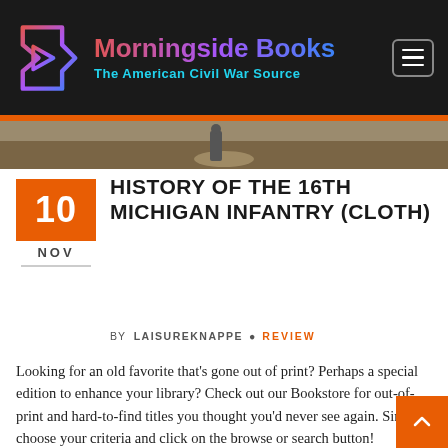Morningside Books – The American Civil War Source
[Figure (photo): Outdoor battlefield or historical site photo strip showing a person walking on a dirt path]
HISTORY OF THE 16TH MICHIGAN INFANTRY (CLOTH)
BY LAISUREKNAPPE • REVIEW
Looking for an old favorite that's gone out of print? Perhaps a special edition to enhance your library? Check out our Bookstore for out-of-print and hard-to-find titles you thought you'd never see again. Simply choose your criteria and click on the browse or search button!